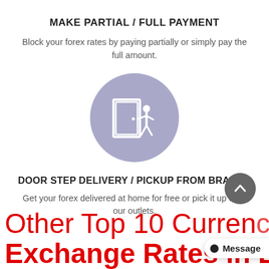MAKE PARTIAL / FULL PAYMENT
Block your forex rates by paying partially or simply pay the full amount.
[Figure (illustration): A purple/lavender circle containing a white icon of a door with a person standing next to it, representing delivery or pickup.]
DOOR STEP DELIVERY / PICKUP FROM BRANCH
Get your forex delivered at home for free or pick it up from our outlets.
Other Top 10 Currency Exchange Rates in Bain...